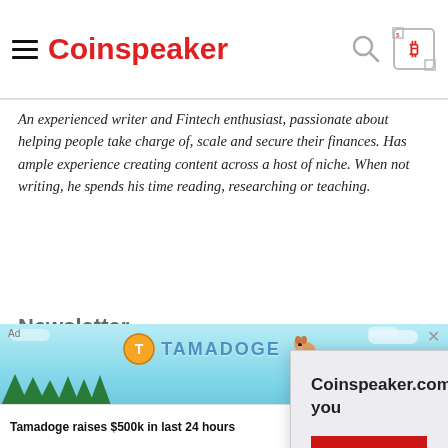Coinspeaker
An experienced writer and Fintech enthusiast, passionate about helping people take charge of, scale and secure their finances. Has ample experience creating content across a host of niche. When not writing, he spends his time reading, researching or teaching.
Newsletter
Your e-mail *
[Figure (screenshot): Cookie consent popup: 'Coinspeaker.com uses cookies to ensure the best experience for you' with ACCEPT button and GO TO PRIVACY POLICY link]
[Figure (infographic): Tamadoge advertisement banner: 'Tamadoge raises $500k in last 24 hours' with READ MORE button on teal/sky background with trees]